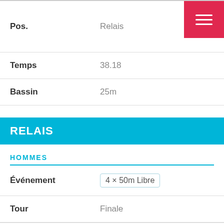| Pos. | Relais |
| Temps | 38.18 |
| Bassin | 25m |
RELAIS
HOMMES
| Événement | 4 × 50m Libre |
| Tour | Finale |